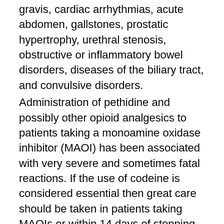gravis, cardiac arrhythmias, acute abdomen, gallstones, prostatic hypertrophy, urethral stenosis, obstructive or inflammatory bowel disorders, diseases of the biliary tract, and convulsive disorders.
Administration of pethidine and possibly other opioid analgesics to patients taking a monoamine oxidase inhibitor (MAOI) has been associated with very severe and sometimes fatal reactions. If the use of codeine is considered essential then great care should be taken in patients taking MAOIs or within 14 days of stopping MAOIs..
Use with caution in the elderly as codeine may contribute to faecal impaction, producing incontinence, spurious diarrhoea, abdominal pain and other abdominal symptoms. Reduce dose.